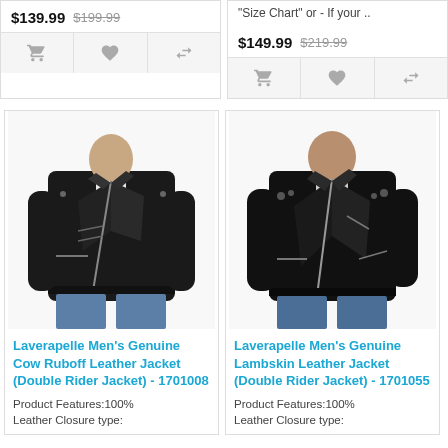$139.99  $199.99
"Size Chart" or - If your ..
$149.99  $219.99
[Figure (photo): Man wearing black Genuine Cow Ruboff leather double rider biker jacket with blue jeans]
Laverapelle Men's Genuine Cow Ruboff Leather Jacket (Double Rider Jacket) - 1701008
Product Features:100% Leather Closure type:
[Figure (photo): Man wearing black Genuine Lambskin leather double rider biker jacket with blue jeans]
Laverapelle Men's Genuine Lambskin Leather Jacket (Double Rider Jacket) - 1701055
Product Features:100% Leather Closure type: